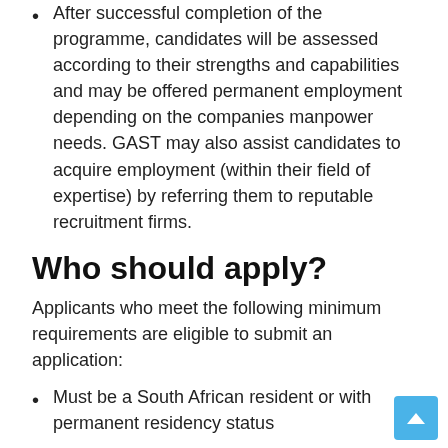After successful completion of the programme, candidates will be assessed according to their strengths and capabilities and may be offered permanent employment depending on the companies manpower needs. GAST may also assist candidates to acquire employment (within their field of expertise) by referring them to reputable recruitment firms.
Who should apply?
Applicants who meet the following minimum requirements are eligible to submit an application:
Must be a South African resident or with permanent residency status
Must not have been employed for more than two